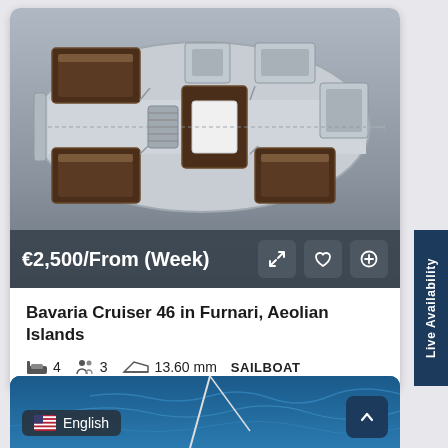[Figure (schematic): Boat interior floorplan top-down view showing cabin layout with berths, salon, heads, and navigation area]
€2,500/From (Week)
Bavaria Cruiser 46 in Furnari, Aeolian Islands
4  3  13.60 mm  SAILBOAT
[Figure (photo): Partial view of sailboat at sea with blue water in background, partially visible]